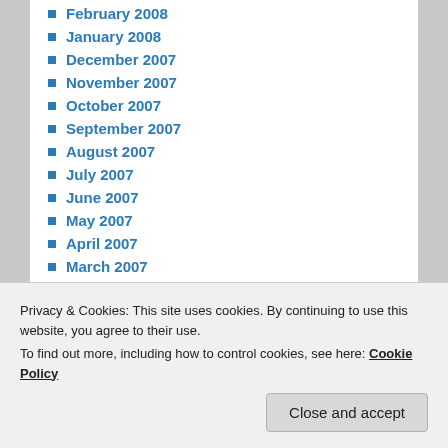February 2008
January 2008
December 2007
November 2007
October 2007
September 2007
August 2007
July 2007
June 2007
May 2007
April 2007
March 2007
February 2007
January 2007
December 2006
May 2006
Privacy & Cookies: This site uses cookies. By continuing to use this website, you agree to their use.
To find out more, including how to control cookies, see here: Cookie Policy